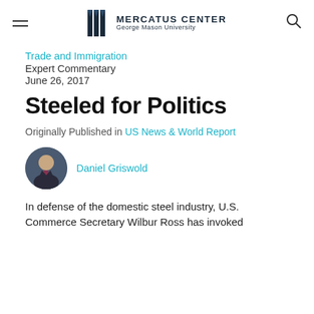Mercatus Center — George Mason University
Trade and Immigration
Expert Commentary
June 26, 2017
Steeled for Politics
Originally Published in US News & World Report
Daniel Griswold
In defense of the domestic steel industry, U.S. Commerce Secretary Wilbur Ross has invoked